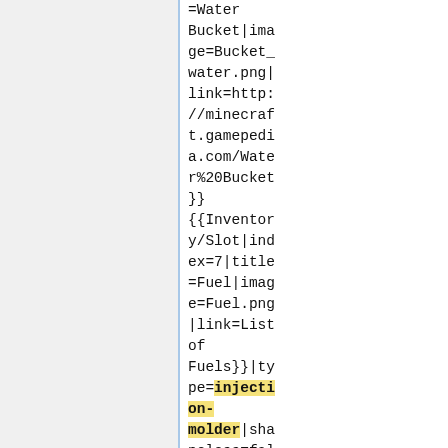=Water Bucket|image=Bucket_water.png|link=http://minecraf t.gamepedia.com/Water%20Bucket}}{{Inventory/Slot|index=7|title=Fuel|image=Fuel.png|link=List of Fuels}}|type=injection-molder|shapeless=fal